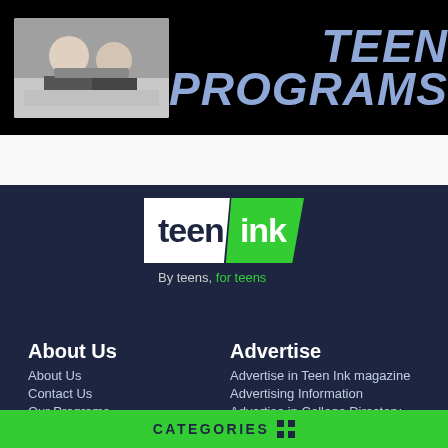[Figure (photo): Banner with photo of teens working and text 'TEEN PROGRAMS' in blue italic letters on black background]
[Figure (logo): Teen Ink logo — white 'teen' panel and green 'ink' panel with tagline 'By teens, for teens' on dark navy background]
About Us
About Us
Contact Us
Our Programs
Celebrity Support
Advertise
Advertise in Teen Ink magazine
Advertising Information
Advertise in College Directory
Advertise in Summer Directory
CATEGORIES